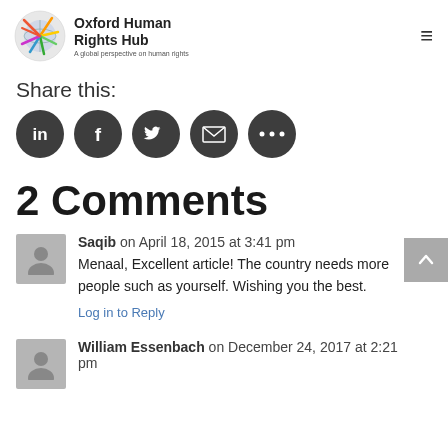Oxford Human Rights Hub — A global perspective on human rights
Share this:
[Figure (other): Social share icons: LinkedIn, Facebook, Twitter, Email, More (five dark circular icon buttons)]
2 Comments
Saqib on April 18, 2015 at 3:41 pm
Menaal, Excellent article! The country needs more people such as yourself. Wishing you the best.
Log in to Reply
William Essenbach on December 24, 2017 at 2:21 pm